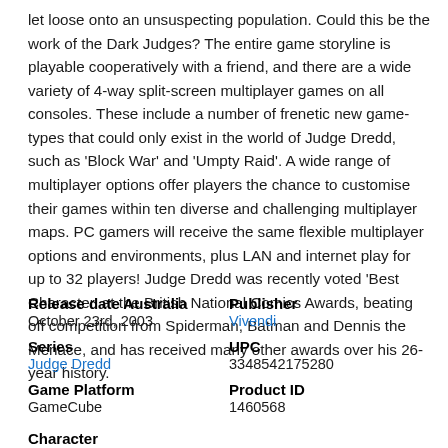let loose onto an unsuspecting population. Could this be the work of the Dark Judges? The entire game storyline is playable cooperatively with a friend, and there are a wide variety of 4-way split-screen multiplayer games on all consoles. These include a number of frenetic new game-types that could only exist in the world of Judge Dredd, such as 'Block War' and 'Umpty Raid'. A wide range of multiplayer options offer players the chance to customise their games within ten diverse and challenging multiplayer maps. PC gamers will receive the same flexible multiplayer options and environments, plus LAN and internet play for up to 32 players! Judge Dredd was recently voted 'Best Character' at the British National Comics Awards, beating off competition from Spiderman, Batman and Dennis the Menace, and has received many other awards over his 26-year history.
| Field | Value |
| --- | --- |
| Release date Australia | October 23rd, 2003 |
| Publisher | Vivendi |
| Series | Judge Dredd |
| UPC | 3348542175280 |
| Game Platform | GameCube |
| Product ID | 1460568 |
| Character |  |